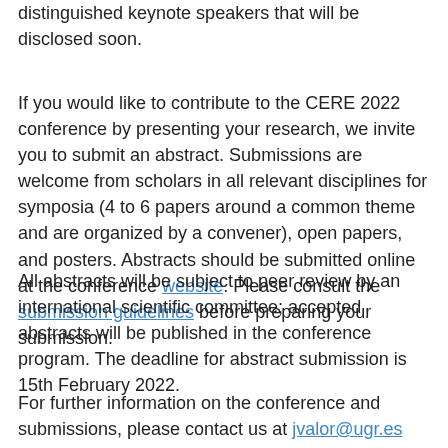distinguished keynote speakers that will be disclosed soon.
If you would like to contribute to the CERE 2022 conference by presenting your research, we invite you to submit an abstract. Submissions are welcome from scholars in all relevant disciplines for symposia (4 to 6 papers around a common theme and are organized by a convener), open papers, and posters. Abstracts should be submitted online at the conference website. Please consult the submission guidelines before preparing your submission.
All abstracts will be subject to peer review by an international scientific committee; accepted abstracts will be published in the conference program. The deadline for abstract submission is 15th February 2022.
For further information on the conference and submissions, please contact us at jvalor@ugr.es (Dr. Inmaculada Valor-Segura)